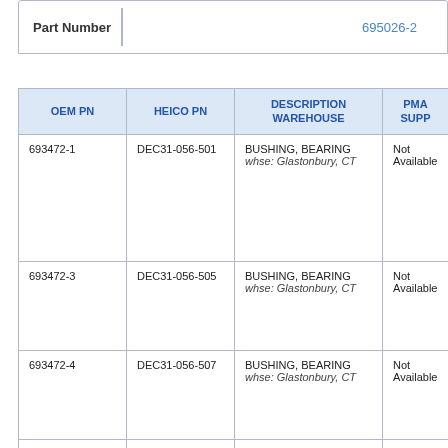Part Number | 695026-2
| OEM PN | HEICO PN | DESCRIPTION WAREHOUSE | PMA SUPP |
| --- | --- | --- | --- |
| 693472-1 | DEC31-056-501 | BUSHING, BEARING
whse: Glastonbury, CT | Not Available |
| 693472-3 | DEC31-056-505 | BUSHING, BEARING
whse: Glastonbury, CT | Not Available |
| 693472-4 | DEC31-056-507 | BUSHING, BEARING
whse: Glastonbury, CT | Not Available |
| 693472-5 | DEC31-056-509 | BUSHING, BEARING
whse: Glastonbury, CT | Not Available |